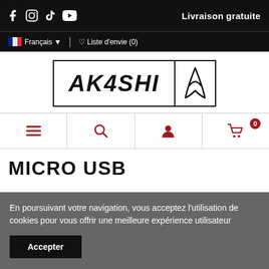Livraison gratuite
Français | Liste d'envie (0)
[Figure (logo): AKASHI brand logo with stylized A symbol]
[Figure (infographic): Navigation icons: hamburger menu, search, user account, shopping cart with badge 0]
MICRO USB
En poursuivant votre navigation, vous acceptez l'utilisation de cookies pour vous offrir une meilleure expérience utilisateur
Accepter